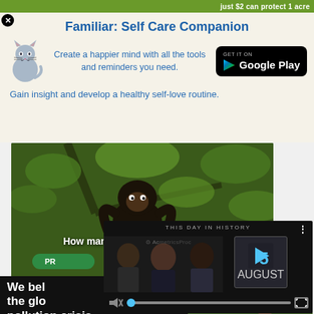[Figure (screenshot): Top green banner strip with text 'just $2 can protect 1 acre']
[Figure (screenshot): Close/X button (black circle) at top left]
Familiar: Self Care Companion
Create a happier mind with all the tools and reminders you need.
[Figure (logo): Google Play store button (black rounded rectangle with 'GET IT ON Google Play' and play arrow icon)]
[Figure (illustration): Cat illustration (gray/blue cartoon cat)]
Gain insight and develop a healthy self-love routine.
[Figure (photo): Wildlife advertisement showing monkey/primate on tree branch with text 'How many acres will you protect?' and a green protect button]
[Figure (screenshot): Video player overlay showing 'THIS DAY IN HISTORY' with date '5 AUGUST', people in background, mute icon, progress bar, fullscreen button, and AcmetricsProc watermark]